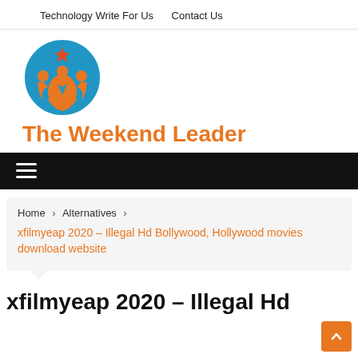Technology Write For Us   Contact Us
[Figure (logo): The Weekend Leader circular logo with orange figures and blue star, orange and blue color scheme]
The Weekend Leader
[Figure (other): Black navigation bar with hamburger menu icon (three horizontal lines)]
Home > Alternatives > xfilmyeap 2020 – Illegal Hd Bollywood, Hollywood movies download website
xfilmyeap 2020 – Illegal Hd